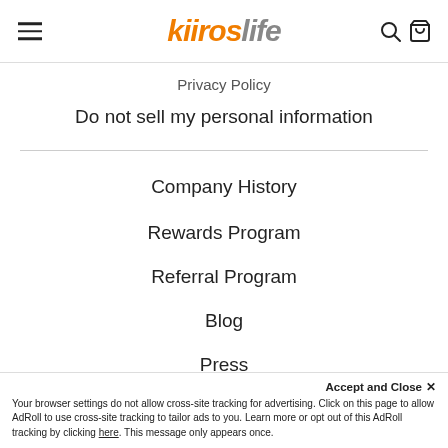kitroslife — navigation header with hamburger menu and search/cart icons
Privacy Policy
Do not sell my personal information
Company History
Rewards Program
Referral Program
Blog
Press
Accept and Close ✕
Your browser settings do not allow cross-site tracking for advertising. Click on this page to allow AdRoll to use cross-site tracking to tailor ads to you. Learn more or opt out of this AdRoll tracking by clicking here. This message only appears once.